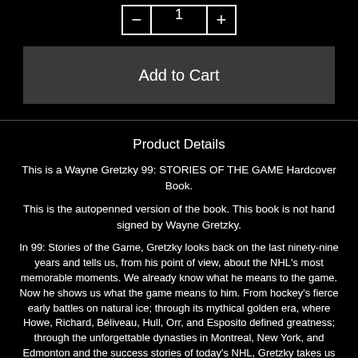[Figure (other): Quantity selector with minus button, quantity input showing 1, and plus button]
[Figure (other): Add to Cart button]
Product Details
This is a Wayne Gretzky 99: STORIES OF THE GAME Hardcover Book.
This is the autopenned version of the book. This book is not hand signed by Wayne Gretzky.
In 99: Stories of the Game, Gretzky looks back on the last ninety-nine years and tells us, from his point of view, about the NHL's most memorable moments. We already know what he means to the game. Now he shows us what the game means to him. From hockey's fierce early battles on natural ice; through its mythical golden era, where Howe, Richard, Béliveau, Hull, Orr, and Esposito defined greatness; through the unforgettable dynasties in Montreal, New York, and Edmonton and the success stories of today's NHL, Gretzky takes us onto the ice and into the dressing room to share never-before-published stories about the great players and great characters who have inspired him. With the